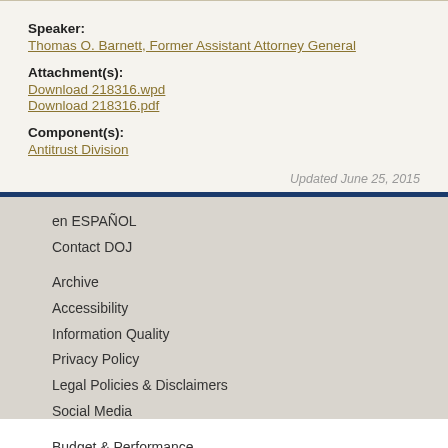Speaker:
Thomas O. Barnett, Former Assistant Attorney General
Attachment(s):
Download 218316.wpd
Download 218316.pdf
Component(s):
Antitrust Division
Updated June 25, 2015
en ESPAÑOL
Contact DOJ
Archive
Accessibility
Information Quality
Privacy Policy
Legal Policies & Disclaimers
Social Media
Budget & Performance
Office of the Inspector General
No FEAR Act